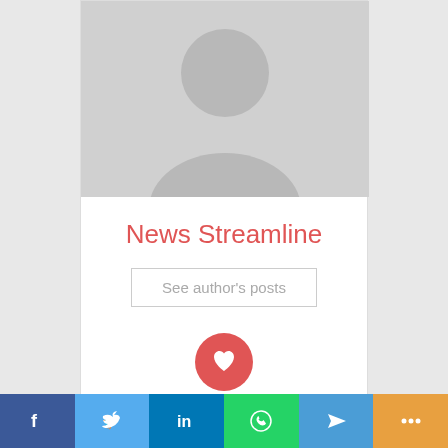[Figure (illustration): Gray placeholder avatar with person silhouette (head and shoulders) on gray background]
News Streamline
See author's posts
[Figure (illustration): Red circle button with white heart/bookmark icon]
Related
Vihana Fashions Launches ‘Bridal Runway Week’ in Bengaluru
Billoomi Fashion: The Answer to Clothing Manufacturing
[Figure (illustration): Social share bar with Facebook, Twitter, LinkedIn, WhatsApp, Telegram, and more icons]